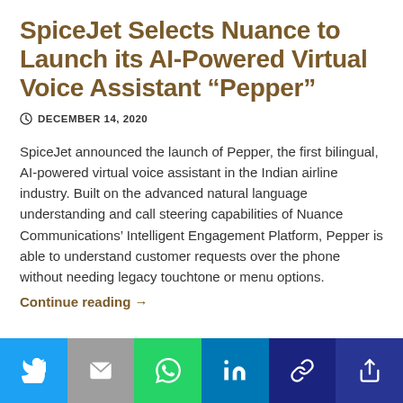SpiceJet Selects Nuance to Launch its AI-Powered Virtual Voice Assistant “Pepper”
DECEMBER 14, 2020
SpiceJet announced the launch of Pepper, the first bilingual, AI-powered virtual voice assistant in the Indian airline industry. Built on the advanced natural language understanding and call steering capabilities of Nuance Communications’ Intelligent Engagement Platform, Pepper is able to understand customer requests over the phone without needing legacy touchtone or menu options.
Continue reading →